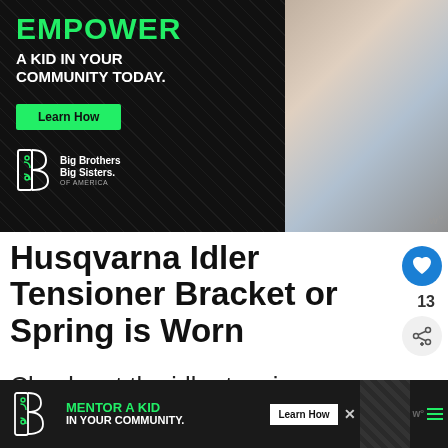[Figure (photo): Advertisement for Big Brothers Big Sisters of America showing 'EMPOWER A KID IN YOUR COMMUNITY TODAY.' with a Learn How button, BBBS logo, and a photo of an adult and child working together on a project]
Husqvarna Idler Tensioner Bracket or Spring is Worn
Check out the idler tensioner bracket and spring. This is the bracket that holds pulleys in line. You will typically find a pulley on one side of the bracket and a spring on the other
[Figure (photo): WHAT'S NEXT → thumbnail showing Fixed! Your Husqvarna...]
[Figure (photo): Bottom banner advertisement for Big Brothers Big Sisters: MENTOR A KID IN YOUR COMMUNITY. Learn How button. Close X button.]